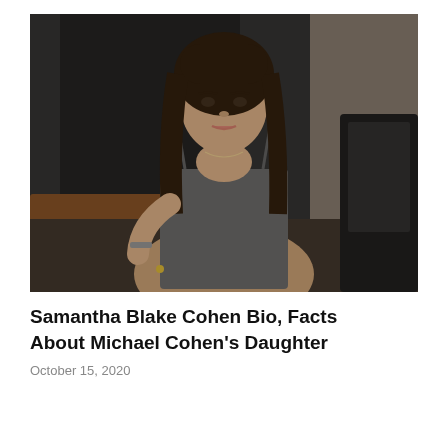[Figure (photo): A young woman with long dark hair wearing a gray sleeveless dress, leaning against a wooden railing in front of a dark door.]
Samantha Blake Cohen Bio, Facts About Michael Cohen's Daughter
October 15, 2020